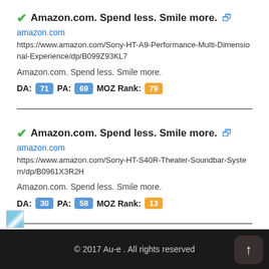Amazon.com. Spend less. Smile more.
amazon.com
https://www.amazon.com/Sony-HT-A9-Performance-Multi-Dimensional-Experience/dp/B099Z93KL7
Amazon.com. Spend less. Smile more.
DA: 71  PA: 69  MOZ Rank: 79
Amazon.com. Spend less. Smile more.
amazon.com
https://www.amazon.com/Sony-HT-S40R-Theater-Soundbar-System/dp/B0961X3R2H
Amazon.com. Spend less. Smile more.
DA: 30  PA: 58  MOZ Rank: 13
© 2017 Au-e . All rights reserved